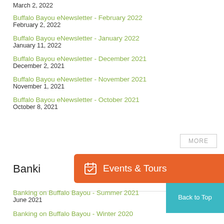March 2, 2022
Buffalo Bayou eNewsletter - February 2022
February 2, 2022
Buffalo Bayou eNewsletter - January 2022
January 11, 2022
Buffalo Bayou eNewsletter - December 2021
December 2, 2021
Buffalo Bayou eNewsletter - November 2021
November 1, 2021
Buffalo Bayou eNewsletter - October 2021
October 8, 2021
MORE
Banking on Buffalo Bayou
Banking on Buffalo Bayou - Summer 2021
June 2021
Banking on Buffalo Bayou - Winter 2020
Events & Tours
Back to Top